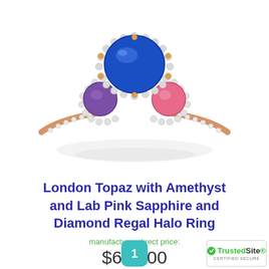[Figure (photo): A three-stone ring with a large oval blue center stone (London Topaz), flanked by a round purple amethyst on the left and a round pink sapphire on the right, all surrounded by diamond halos on a white/rose gold band with diamond-set shoulders.]
London Topaz with Amethyst and Lab Pink Sapphire and Diamond Regal Halo Ring
manufacturer-direct price:
$649.00
1
[Figure (logo): TrustedSite CERTIFIED SECURE badge with green checkmark]